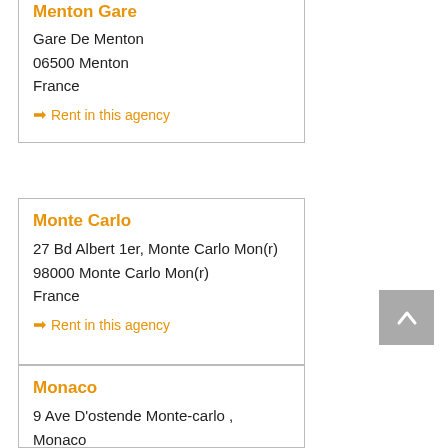Menton Gare
Gare De Menton
06500 Menton
France
➡ Rent in this agency
Monte Carlo
27 Bd Albert 1er, Monte Carlo Mon(r)
98000 Monte Carlo Mon(r)
France
➡ Rent in this agency
Monaco
9 Ave D'ostende Monte-carlo , Monaco
98000 Monaco
France
➡ Rent in this agency